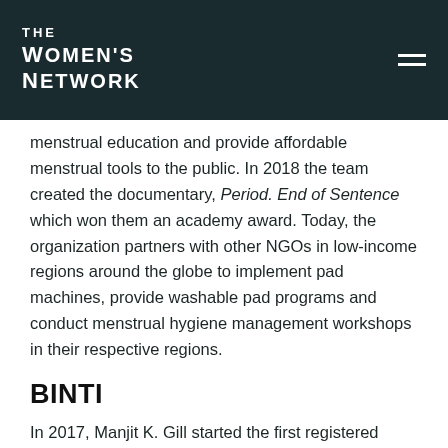THE WOMEN'S NETWORK
menstrual education and provide affordable menstrual tools to the public. In 2018 the team created the documentary, Period. End of Sentence which won them an academy award. Today, the organization partners with other NGOs in low-income regions around the globe to implement pad machines, provide washable pad programs and conduct menstrual hygiene management workshops in their respective regions.
BINTI
In 2017, Manjit K. Gill started the first registered period charity in the UK and India. Gill has more than 30 years of experience in international business and has contributed to the success of 7 different startups prior to her work with Binti. The organization's efforts began